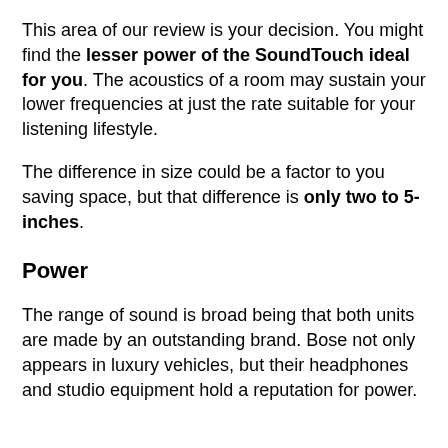This area of our review is your decision. You might find the lesser power of the SoundTouch ideal for you. The acoustics of a room may sustain your lower frequencies at just the rate suitable for your listening lifestyle.
The difference in size could be a factor to you saving space, but that difference is only two to 5-inches.
Power
The range of sound is broad being that both units are made by an outstanding brand. Bose not only appears in luxury vehicles, but their headphones and studio equipment hold a reputation for power.